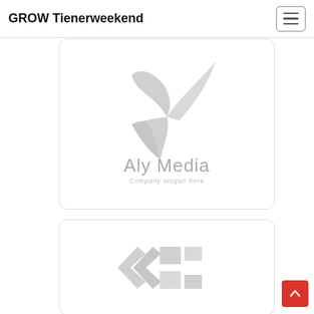GROW Tienerweekend
[Figure (logo): Aly Media logo with stylized bird/check mark in grey and text 'Aly Media' with tagline 'Company slogan here']
[Figure (logo): Abstract grey geometric arrow/chevron logo]